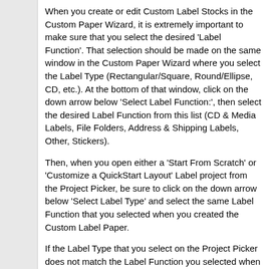When you create or edit Custom Label Stocks in the Custom Paper Wizard, it is extremely important to make sure that you select the desired 'Label Function'. That selection should be made on the same window in the Custom Paper Wizard where you select the Label Type (Rectangular/Square, Round/Ellipse, CD, etc.). At the bottom of that window, click on the down arrow below 'Select Label Function:', then select the desired Label Function from this list (CD & Media Labels, File Folders, Address & Shipping Labels, Other, Stickers).
Then, when you open either a 'Start From Scratch' or 'Customize a QuickStart Layout' Label project from the Project Picker, be sure to click on the down arrow below 'Select Label Type' and select the same Label Function that you selected when you created the Custom Label Paper.
If the Label Type that you select on the Project Picker does not match the Label Function you selected when you created the Custom Label Stock, you will not see that Custom Label Stock in the list.
< Message edited by Brandy redux -- 8/1/2012 2:39:44